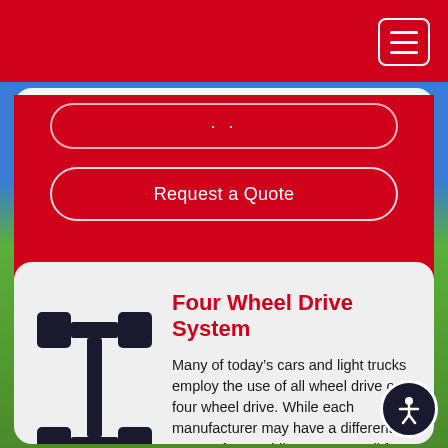[Figure (screenshot): Red navigation header bar with hamburger menu button (three white lines in white-bordered rounded rectangle) on right side]
[Figure (screenshot): Partially visible red card with rounded-rectangle input field (two dots) and 'Request a Quote' outlined button on red background]
Request a Quote
[Figure (illustration): Four wheel drive system icon: dark silhouette of car axle and wheel assembly showing front and rear axles connected by driveshaft]
Four Wheel Drive System
Many of today's cars and light trucks employ the use of all wheel drive or four wheel drive. While each manufacturer may have a different system for providing power to all four wheels, they all use some sort of differential or transfer case to get the power from front to